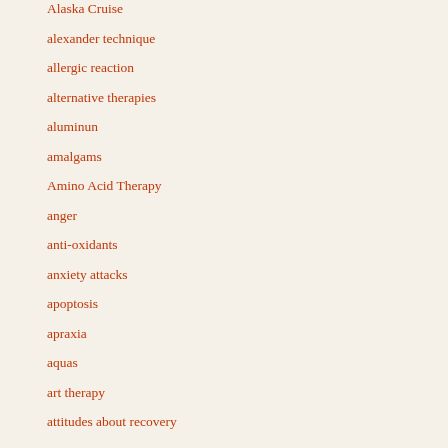Alaska Cruise
alexander technique
allergic reaction
alternative therapies
aluminun
amalgams
Amino Acid Therapy
anger
anti-oxidants
anxiety attacks
apoptosis
apraxia
aquas
art therapy
attitudes about recovery